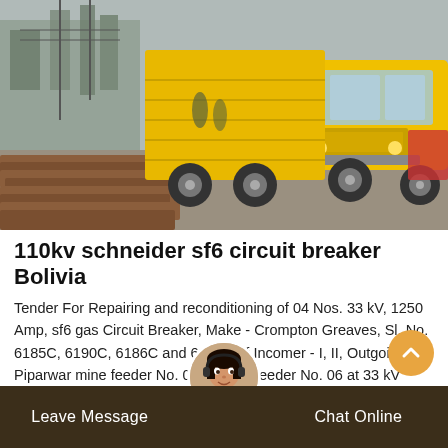[Figure (photo): Construction site photo showing a yellow dump truck and another yellow truck/vehicle parked near a pile of wooden railway sleepers/timbers, with industrial infrastructure and buildings in the background.]
110kv schneider sf6 circuit breaker Bolivia
Tender For Repairing and reconditioning of 04 Nos. 33 kV, 1250 Amp, sf6 gas Circuit Breaker, Make - Crompton Greaves, Sl. No. 6185C, 6190C, 6186C and 6187C of Incomer - I, II, Outgoing Piparwar mine feeder No. 03 and NK feeder No. 06 at 33 kV Central
Leave Message   Chat Online